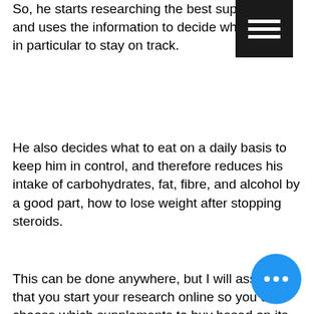So, he starts researching the best supplements and uses the information to decide what to take in particular to stay on track.
He also decides what to eat on a daily basis to keep him in control, and therefore reduces his intake of carbohydrates, fat, fibre, and alcohol by a good part, how to lose weight after stopping steroids.
This can be done anywhere, but I will assume that you start your research online so you can choose which supplements to buy based on its reviews as they are usually better than anything that is being sold on the Internet.
I chose to read reviews of some common supplements on Amazon along with my personal experiences of using them for my own personal goals.